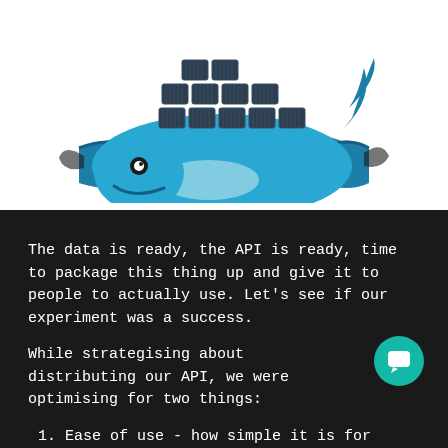[Figure (logo): Docker logo — a blue whale carrying shipping containers on its back, on a white background]
The data is ready, the API is ready, time to package this thing up and give it to people to actually use. Let's see if our experiment was a success.
While strategising about distributing our API, we were optimising for two things:
1. Ease of use - how simple it is for someone to download this thing and get going